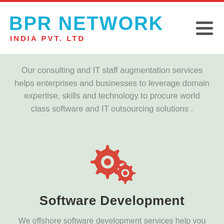BPR NETWORK INDIA PVT. LTD
Our consulting and IT staff augmentation services helps enterprises and businesses to leverage domain expertise, skills and technology to procure world class software and IT outsourcing solutions .
[Figure (illustration): Two interlocking red gear/cog icons representing software development]
Software Development
We offshore software development services help you craft a vision for your organization and then implement a result-oriented technology framework that will turn that vision into reality.